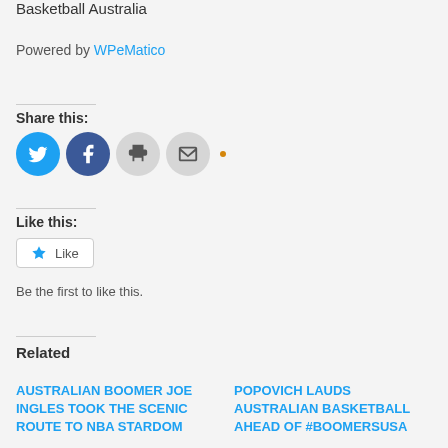Basketball Australia
Powered by WPeMatico
Share this:
[Figure (other): Social share buttons: Twitter (blue circle), Facebook (blue circle), Print (grey circle), Email (grey circle), and an orange dot]
Like this:
[Figure (other): Like button with star icon and text 'Like']
Be the first to like this.
Related
AUSTRALIAN BOOMER JOE INGLES TOOK THE SCENIC ROUTE TO NBA STARDOM
POPOVICH LAUDS AUSTRALIAN BASKETBALL AHEAD OF #BOOMERSUSA